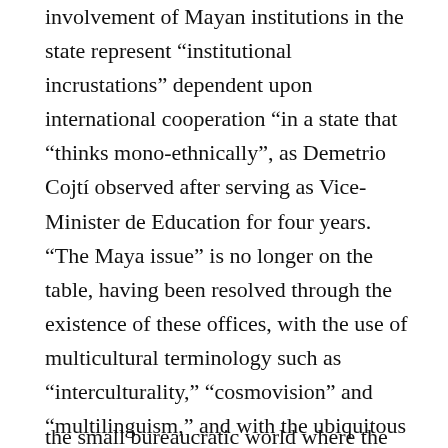involvement of Mayan institutions in the state represent “institutional incrustations” dependent upon international cooperation “in a state that “thinks mono-ethnically”, as Demetrio Cojtí observed after serving as Vice-Minister de Education for four years. “The Maya issue” is no longer on the table, having been resolved through the existence of these offices, with the use of multicultural terminology such as “interculturality,” “cosmovision” and “multilinguism,” and with the ubiquitous Mayan ceremonies in which presidents and other officials continually participate.
the small bureaucratic world where the book